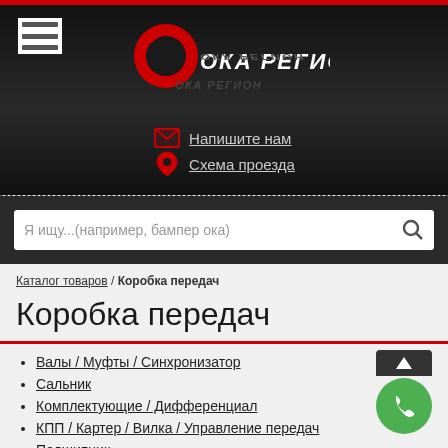[Figure (logo): ОКА РЕГИОН car parts store logo with red car graphic and reflected text on dark background]
Напишите нам
Схема проезда
Я ищу...(например, бампер ока)
Каталог товаров / Коробка передач
Коробка передач
Валы / Муфты / Синхронизатор
Сальник
Комплектующие / Дифференциал
КПП / Картер / Вилка / Управление передач
Подшипник